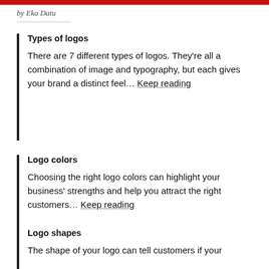by Eka Datu
Types of logos
There are 7 different types of logos. They're all a combination of image and typography, but each gives your brand a distinct feel… Keep reading
Logo colors
Choosing the right logo colors can highlight your business' strengths and help you attract the right customers… Keep reading
Logo shapes
The shape of your logo can tell customers if your